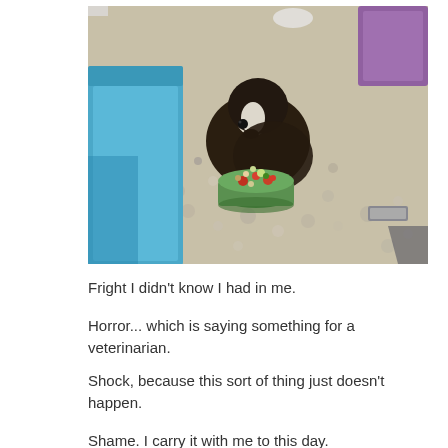[Figure (photo): A guinea pig with dark brown and white coloring is viewed from above, eating from a small green bowl filled with colorful pellet food. The animal is in an enclosure with light-colored bedding/gravel substrate. A blue ramp or house is visible on the left, a purple item in the top right corner, and a metal object in the lower right.]
Fright I didn't know I had in me.
Horror... which is saying something for a veterinarian.
Shock, because this sort of thing just doesn't happen.
Shame. I carry it with me to this day.